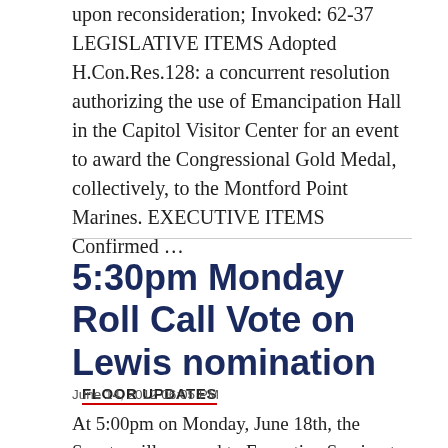upon reconsideration; Invoked: 62-37 LEGISLATIVE ITEMS Adopted H.Con.Res.128: a concurrent resolution authorizing the use of Emancipation Hall in the Capitol Visitor Center for an event to award the Congressional Gold Medal, collectively, to the Montford Point Marines. EXECUTIVE ITEMS Confirmed …
5:30pm Monday Roll Call Vote on Lewis nomination FLOOR UPDATES
June 14, 2012 06:05 PM
At 5:00pm on Monday, June 18th, the Senate will proceed to Executive Session to consider Executive Calendar #612, the nomination of Mary Geiger